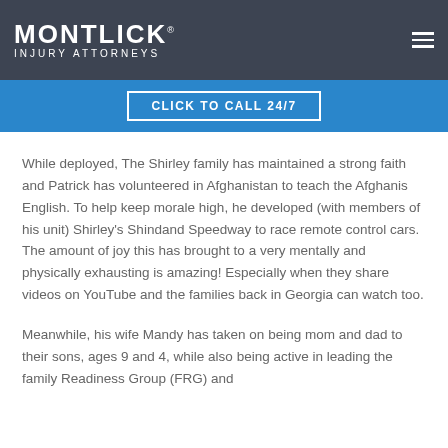MONTLICK INJURY ATTORNEYS
CLICK TO CALL 24/7
While deployed, The Shirley family has maintained a strong faith and Patrick has volunteered in Afghanistan to teach the Afghanis English. To help keep morale high, he developed (with members of his unit) Shirley's Shindand Speedway to race remote control cars. The amount of joy this has brought to a very mentally and physically exhausting is amazing! Especially when they share videos on YouTube and the families back in Georgia can watch too.
Meanwhile, his wife Mandy has taken on being mom and dad to their sons, ages 9 and 4, while also being active in leading the family Readiness Group (FRG) and